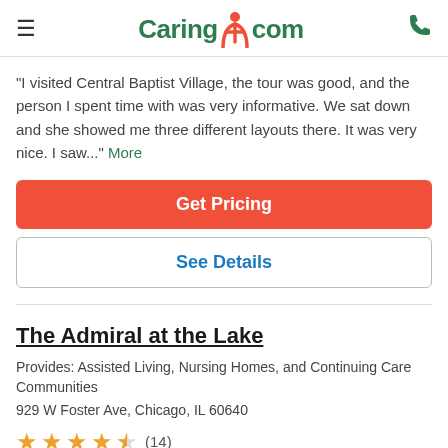Caring.com
"I visited Central Baptist Village, the tour was good, and the person I spent time with was very informative. We sat down and she showed me three different layouts there. It was very nice. I saw..." More
Get Pricing
See Details
The Admiral at the Lake
Provides: Assisted Living, Nursing Homes, and Continuing Care Communities
929 W Foster Ave, Chicago, IL 60640
★★★★½ (14)